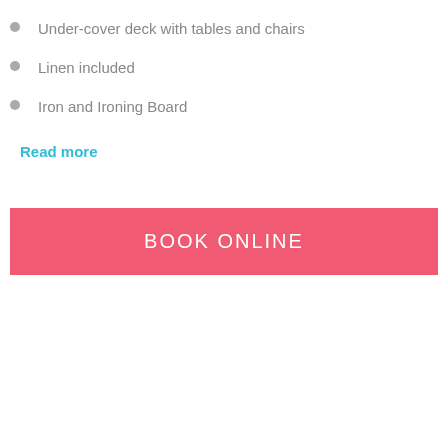Under-cover deck with tables and chairs
Linen included
Iron and Ironing Board
Read more
BOOK ONLINE